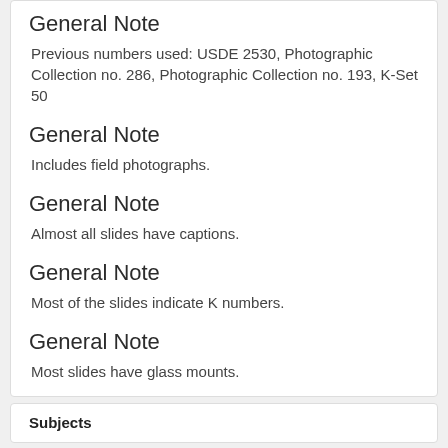General Note
Previous numbers used: USDE 2530, Photographic Collection no. 286, Photographic Collection no. 193, K-Set 50
General Note
Includes field photographs.
General Note
Almost all slides have captions.
General Note
Most of the slides indicate K numbers.
General Note
Most slides have glass mounts.
Subjects